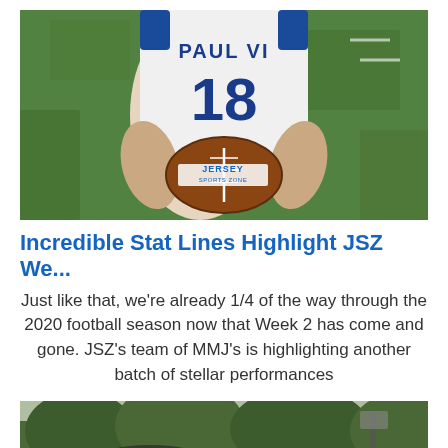[Figure (photo): Football player wearing Paul VI #18 jersey holding a football with Jersey Sports Zone logo on it, standing on grass field]
Incredible Stat Lines Highlight JSZ We...
Just like that, we're already 1/4 of the way through the 2020 football season now that Week 2 has come and gone. JSZ's team of MMJ's is highlighting another batch of stellar performances
[Figure (photo): Outdoor photo, appears to show trees and possibly a sports field or road scene]